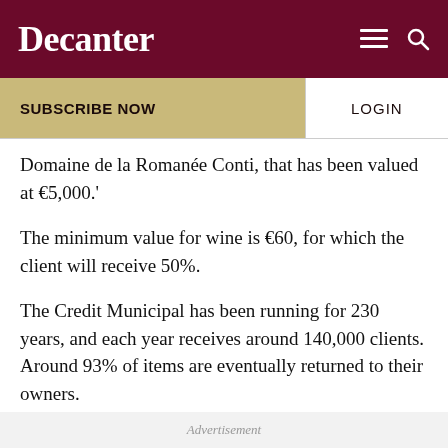Decanter
SUBSCRIBE NOW
LOGIN
Domaine de la Romanée Conti, that has been valued at €5,000.'
The minimum value for wine is €60, for which the client will receive 50%.
The Credit Municipal has been running for 230 years, and each year receives around 140,000 clients. Around 93% of items are eventually returned to their owners.
Advertisement